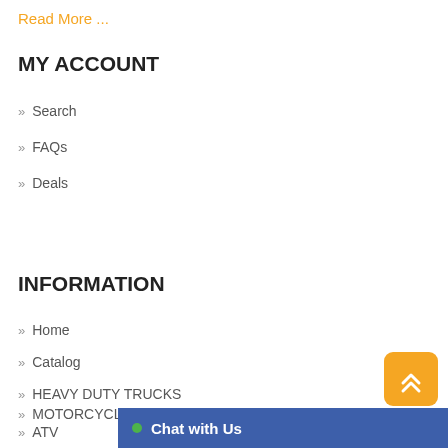Read More ...
MY ACCOUNT
» Search
» FAQs
» Deals
INFORMATION
» Home
» Catalog
» HEAVY DUTY TRUCKS
» MOTORCYCLE
» ATV
[Figure (other): Orange scroll-to-top button with double up-arrow chevron]
Chat with Us